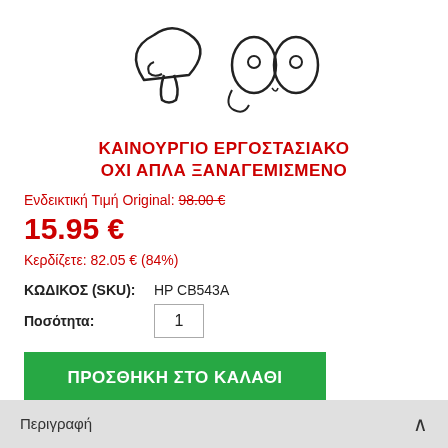[Figure (illustration): Hand-drawn style logo with mushroom and eyes characters]
ΚΑΙΝΟΥΡΓΙΟ ΕΡΓΟΣΤΑΣΙΑΚΟ ΟΧΙ ΑΠΛΑ ΞΑΝΑΓΕΜΙΣΜΕΝΟ
Ενδεικτική Τιμή Original: 98.00 €
15.95 €
Κερδίζετε: 82.05 € (84%)
ΚΩΔΙΚΟΣ (SKU): HP CB543A
Ποσότητα: 1
ΠΡΟΣΘΗΚΗ ΣΤΟ ΚΑΛΑΘΙ
Προσθήκη στη Λίστα Αγαπημένων
Περιγραφή